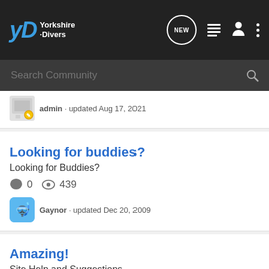Yorkshire Divers
admin · updated Aug 17, 2021
Looking for buddies?
Looking for Buddies?
0 comments · 439 views
Gaynor · updated Dec 20, 2009
Amazing!
Site Help and Suggestions
8 comments · 2K views
sundodger · updated Oct 21, 2016